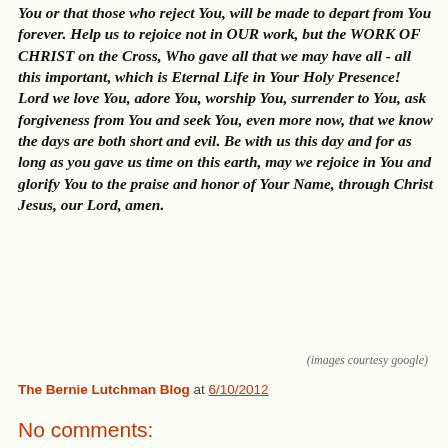You or that those who reject You, will be made to depart from You forever. Help us to rejoice not in OUR work, but the WORK OF CHRIST on the Cross, Who gave all that we may have all - all this important, which is Eternal Life in Your Holy Presence! Lord we love You, adore You, worship You, surrender to You, ask forgiveness from You and seek You, even more now, that we know the days are both short and evil. Be with us this day and for as long as you gave us time on this earth, may we rejoice in You and glorify You to the praise and honor of Your Name, through Christ Jesus, our Lord, amen.
(images courtesy google)
The Bernie Lutchman Blog at 6/10/2012
Share
No comments:
Post a Comment